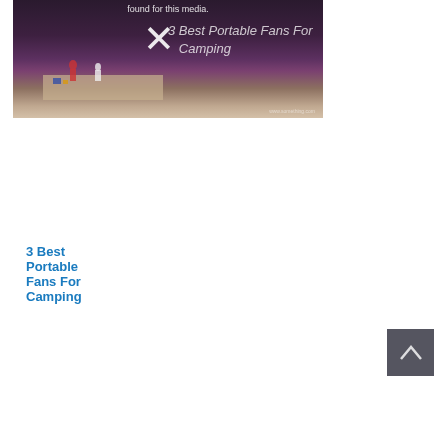[Figure (photo): Broken/missing media placeholder showing a beach scene at dusk with an X overlay and handwritten text '3 Best Portable Fans For Camping']
3 Best Portable Fans For Camping